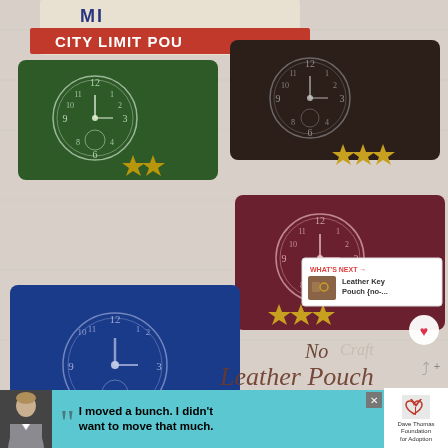[Figure (photo): Four leather pouches with clock face prints and brass star studs in green, dark brown, burgundy/maroon, and blue colors, arranged on a white wooden surface. Background shows a 'CITY LIMIT' sign. UI overlays include a heart/like button, share button, 'WHAT'S NEXT' box with Leather Key Pouch thumbnail, and script text 'Leather Pouch' and 'No' at bottom.]
[Figure (infographic): Advertisement banner at bottom: dark background with young man photo on left, teal/cyan rectangle with quote 'I moved a bunch. I didn't want to move that much.' in bold text with large quotation marks, Dave Thomas Foundation for Adoption logo on right with red X close button.]